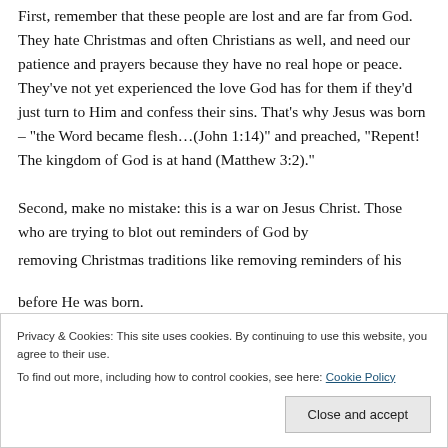First, remember that these people are lost and are far from God. They hate Christmas and often Christians as well, and need our patience and prayers because they have no real hope or peace. They've not yet experienced the love God has for them if they'd just turn to Him and confess their sins. That's why Jesus was born – "the Word became flesh…(John 1:14)" and preached, "Repent! The kingdom of God is at hand (Matthew 3:2)."
Second, make no mistake: this is a war on Jesus Christ. Those who are trying to blot out reminders of God by removing Christmas traditions like...
before He was born.
Privacy & Cookies: This site uses cookies. By continuing to use this website, you agree to their use.
To find out more, including how to control cookies, see here: Cookie Policy